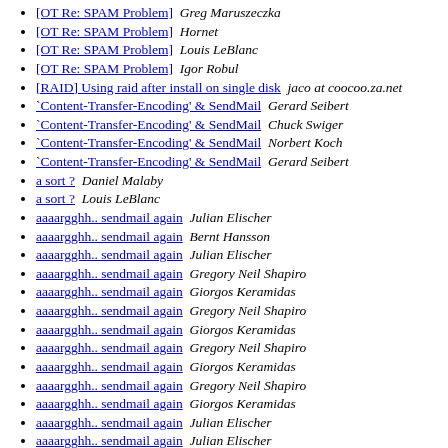[OT Re: SPAM Problem]  Greg Maruszeczka
[OT Re: SPAM Problem]  Hornet
[OT Re: SPAM Problem]  Louis LeBlanc
[OT Re: SPAM Problem]  Igor Robul
[RAID] Using raid after install on single disk  jaco at coocoo.za.net
`Content-Transfer-Encoding' & SendMail  Gerard Seibert
`Content-Transfer-Encoding' & SendMail  Chuck Swiger
`Content-Transfer-Encoding' & SendMail  Norbert Koch
`Content-Transfer-Encoding' & SendMail  Gerard Seibert
a sort ?  Daniel Malaby
a sort ?  Louis LeBlanc
aaaargghh.. sendmail again  Julian Elischer
aaaargghh.. sendmail again  Bernt Hansson
aaaargghh.. sendmail again  Julian Elischer
aaaargghh.. sendmail again  Gregory Neil Shapiro
aaaargghh.. sendmail again  Giorgos Keramidas
aaaargghh.. sendmail again  Gregory Neil Shapiro
aaaargghh.. sendmail again  Giorgos Keramidas
aaaargghh.. sendmail again  Gregory Neil Shapiro
aaaargghh.. sendmail again  Giorgos Keramidas
aaaargghh.. sendmail again  Gregory Neil Shapiro
aaaargghh.. sendmail again  Giorgos Keramidas
aaaargghh.. sendmail again  Julian Elischer
aaaargghh.. sendmail again  Julian Elischer